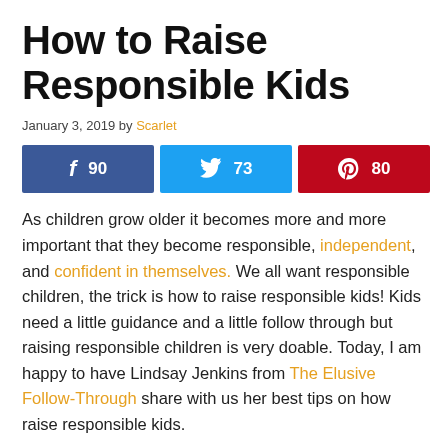How to Raise Responsible Kids
January 3, 2019 by Scarlet
[Figure (infographic): Social share buttons: Facebook 90, Twitter 73, Pinterest 80, total 243 SHARES]
As children grow older it becomes more and more important that they become responsible, independent, and confident in themselves. We all want responsible children, the trick is how to raise responsible kids! Kids need a little guidance and a little follow through but raising responsible children is very doable. Today, I am happy to have Lindsay Jenkins from The Elusive Follow-Through share with us her best tips on how raise responsible kids.